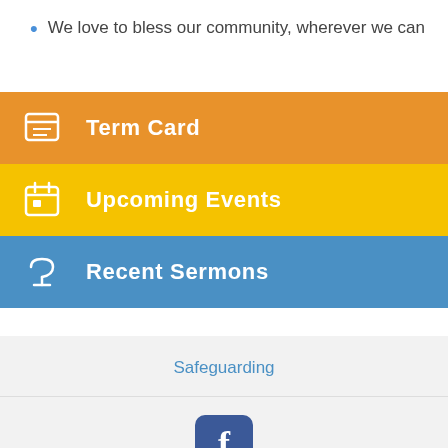We love to bless our community, wherever we can
Term Card
Upcoming Events
Recent Sermons
Safeguarding
[Figure (logo): Facebook logo icon - blue rounded square with white letter f]
St Helen's Church, St Helen's Gardens,